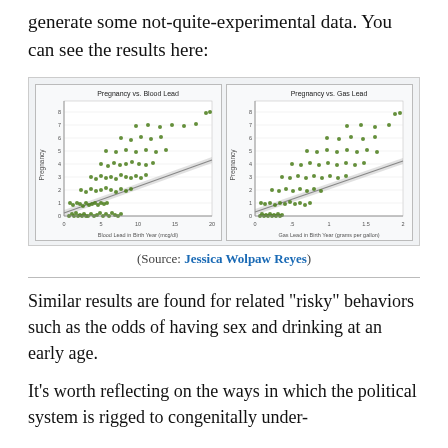generate some not-quite-experimental data. You can see the results here:
[Figure (continuous-plot): Two scatter plots side by side. Left: 'Pregnancy vs. Blood Lead' with y-axis labeled Pregnancy and x-axis 'Blood Lead in Birth Year (mcg/dl)', data range 0-20, showing positive correlation with regression line and confidence band, green dots. Right: 'Pregnancy vs. Gas Lead' with y-axis labeled Pregnancy and x-axis 'Gas Lead in Birth Year (grams per gallon)', data range 0-2, showing positive correlation with regression line and confidence band, green dots.]
(Source: Jessica Wolpaw Reyes)
Similar results are found for related "risky" behaviors such as the odds of having sex and drinking at an early age.
It's worth reflecting on the ways in which the political system is rigged to congenitally under-